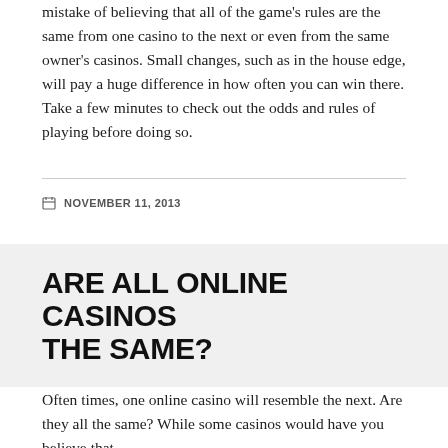mistake of believing that all of the game's rules are the same from one casino to the next or even from the same owner's casinos. Small changes, such as in the house edge, will pay a huge difference in how often you can win there. Take a few minutes to check out the odds and rules of playing before doing so.
NOVEMBER 11, 2013
ARE ALL ONLINE CASINOS THE SAME?
Often times, one online casino will resemble the next. Are they all the same? While some casinos would have you believe that